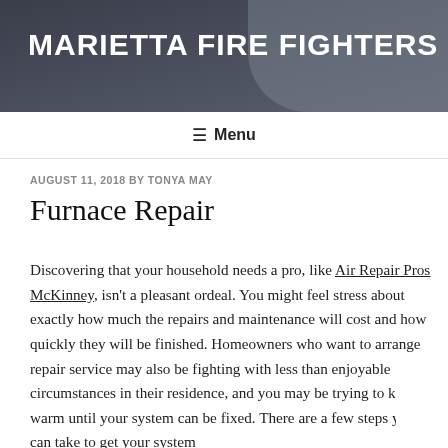MARIETTA FIRE FIGHTERS
≡ Menu
AUGUST 11, 2018 BY TONYA MAY
Furnace Repair
Discovering that your household needs a pro, like Air Repair Pros McKinney, isn't a pleasant ordeal. You might feel stress about exactly how much the repairs and maintenance will cost and how quickly they will be finished. Homeowners who want to arrange repair service may also be fighting with less than enjoyable circumstances in their residence, and you may be trying to keep warm until your system can be fixed. There are a few steps you can take to get your system